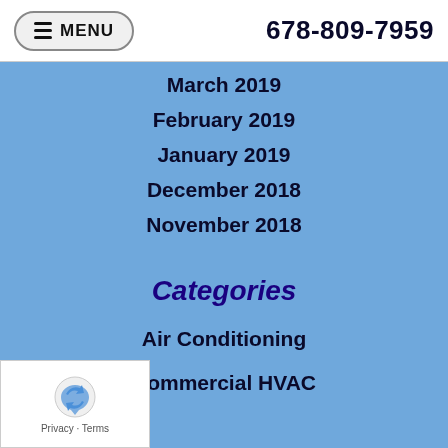MENU  678-809-7959
March 2019
February 2019
January 2019
December 2018
November 2018
Categories
Air Conditioning
Commercial HVAC